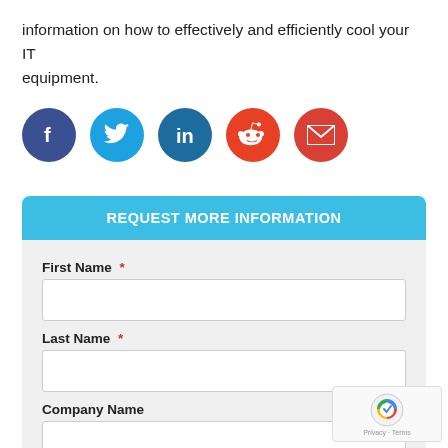information on how to effectively and efficiently cool your IT equipment.
[Figure (infographic): Five social media share icons in colored circles: Facebook (dark blue), Twitter (light blue), LinkedIn (teal blue), Reddit (orange-red), Email (red)]
REQUEST MORE INFORMATION
First Name *
Last Name *
Company Name